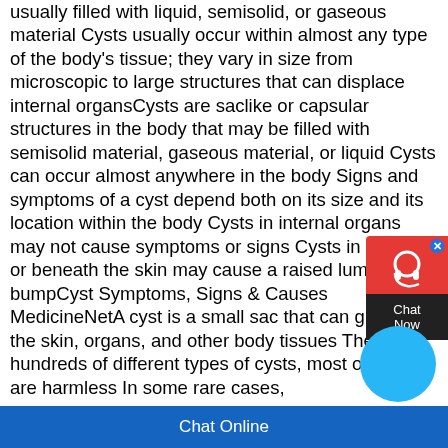usually filled with liquid, semisolid, or gaseous material Cysts usually occur within almost any type of the body's tissue; they vary in size from microscopic to large structures that can displace internal organsCysts are saclike or capsular structures in the body that may be filled with semisolid material, gaseous material, or liquid Cysts can occur almost anywhere in the body Signs and symptoms of a cyst depend both on its size and its location within the body Cysts in internal organs may not cause symptoms or signs Cysts in the skin or beneath the skin may cause a raised lump or bumpCyst Symptoms, Signs & Causes MedicineNetA cyst is a small sac that can grow on the skin, organs, and other body tissues There are hundreds of different types of cysts, most of which are harmless In some rare cases,
[Figure (other): Chat Now widget with red background, headset icon, close button, and dark bottom section with Chat Now text]
[Figure (other): Blue circle chat button]
Chat Online